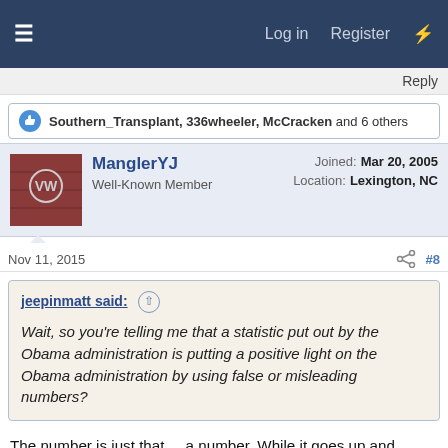≡   Log in   Register   ⚡
Reply
Southern_Transplant, 336wheeler, McCracken and 6 others
ManglerYJ
Well-Known Member
Joined: Mar 20, 2005
Location: Lexington, NC
Nov 11, 2015   #8
jeepinmatt said: ↑
Wait, so you're telling me that a statistic put out by the Obama administration is putting a positive light on the Obama administration by using false or misleading numbers?
The number is just that.... a number. While it goes up and down, we interpret it to mean different things, but it's just a number of people currently on a particular system. It is an indicator of financial strength, but not a very good one, because the number isn't complete in and of itself. They would like to make you think that only 5% of the